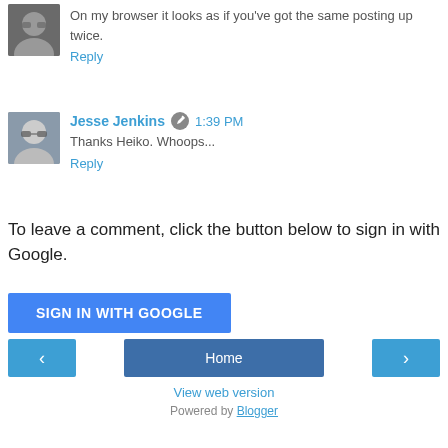On my browser it looks as if you've got the same posting up twice.
Reply
Jesse Jenkins  1:39 PM
Thanks Heiko. Whoops...
Reply
To leave a comment, click the button below to sign in with Google.
SIGN IN WITH GOOGLE
Home  View web version  Powered by Blogger